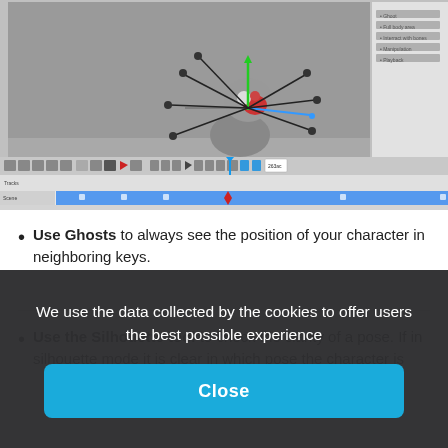[Figure (screenshot): Screenshot of a 3D animation software showing a cartoon character with bone/rig controls visible, a 3D viewport with a gray background, a right-side panel with menu items, and a timeline/track editor at the bottom with keyframes.]
Use Ghosts to always see the position of your character in neighboring keys.
Use the Silhouette tool to check the clarity of a pose. If in silhouette mode it is clear in which pose the character is
We use the data collected by the cookies to offer users the best possible experience
Close